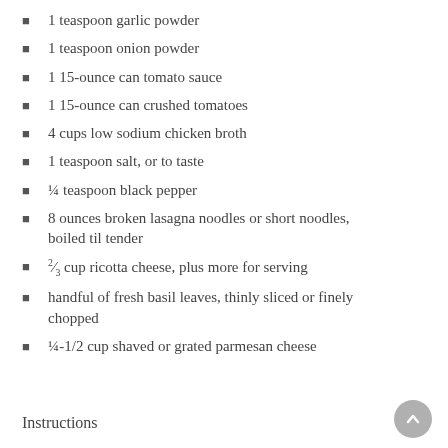1 teaspoon garlic powder
1 teaspoon onion powder
1 15-ounce can tomato sauce
1 15-ounce can crushed tomatoes
4 cups low sodium chicken broth
1 teaspoon salt, or to taste
¼ teaspoon black pepper
8 ounces broken lasagna noodles or short noodles, boiled til tender
⅔ cup ricotta cheese, plus more for serving
handful of fresh basil leaves, thinly sliced or finely chopped
¼-1/2 cup shaved or grated parmesan cheese
Instructions